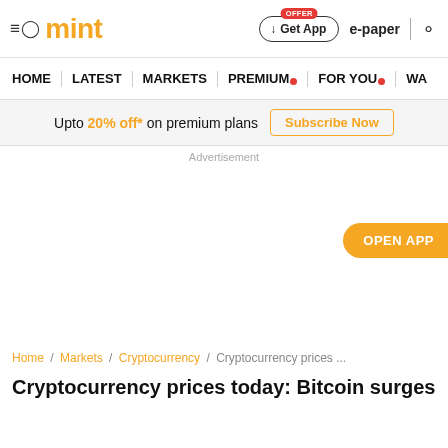mint
HOME | LATEST | MARKETS | PREMIUM | FOR YOU | WA...
Upto 20% off* on premium plans Subscribe Now
Advertisement
[Figure (other): Advertisement blank space area with OPEN APP button on right]
Home / Markets / Cryptocurrency / Cryptocurrency prices ...
Cryptocurrency prices today: Bitcoin surges